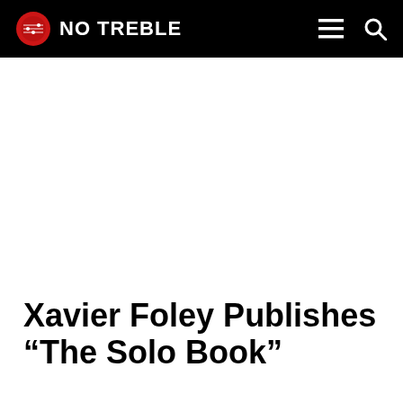NO TREBLE
Xavier Foley Publishes “The Solo Book”